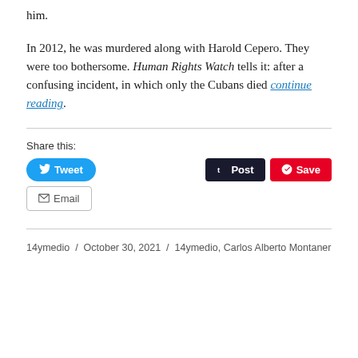him.
In 2012, he was murdered along with Harold Cepero. They were too bothersome. Human Rights Watch tells it: after a confusing incident, in which only the Cubans died continue reading
Share this:
Tweet  Post  Save  Email
14ymedio / October 30, 2021 / 14ymedio, Carlos Alberto Montaner